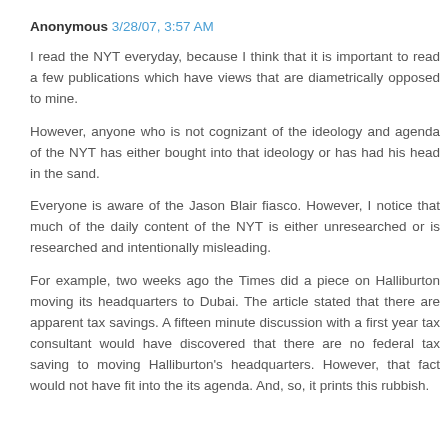Anonymous 3/28/07, 3:57 AM
I read the NYT everyday, because I think that it is important to read a few publications which have views that are diametrically opposed to mine.
However, anyone who is not cognizant of the ideology and agenda of the NYT has either bought into that ideology or has had his head in the sand.
Everyone is aware of the Jason Blair fiasco. However, I notice that much of the daily content of the NYT is either unresearched or is researched and intentionally misleading.
For example, two weeks ago the Times did a piece on Halliburton moving its headquarters to Dubai. The article stated that there are apparent tax savings. A fifteen minute discussion with a first year tax consultant would have discovered that there are no federal tax saving to moving Halliburton's headquarters. However, that fact would not have fit into the its agenda. And, so, it prints this rubbish.